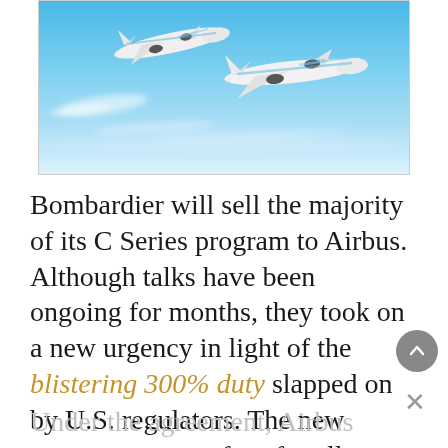[Figure (photo): Two white commercial aircraft (Bombardier C Series jets) flying in blue sky with wispy clouds. The aircraft are white with blue accents, one banking upper-left and one larger in center-right, both flying against a bright blue sky.]
Bombardier will sell the majority of its C Series program to Airbus. Although talks have been ongoing for months, they took on a new urgency in light of the blistering 300% duty slapped on by U.S. regulators. The new agreement saves face for all sides, but at whose expense?
Under the agreement, Airbus will take...